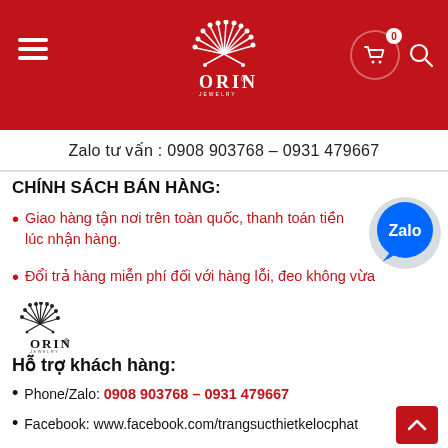ORIN Jewelry – Header navigation bar with logo, hamburger menu, cart (0), and search icon
Zalo tư vấn : 0908 903768 – 0931 479667
CHÍNH SÁCH BÁN HÀNG:
Giao hàng tận nơi trên toàn quốc, thanh toán tiền lúc nhận hàng.
Đổi trả hàng miễn phí đối với hàng lỗi, đeo không vừa
[Figure (logo): ORIN jewelry small logo (black on white)]
Hỗ trợ khách hàng:
Phone/Zalo: 0908 903768 – 0931 479667
Facebook: www.facebook.com/trangsucthietkelocphat